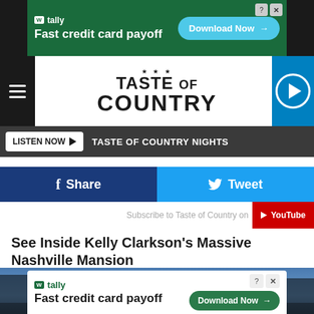[Figure (screenshot): Tally ad banner: Fast credit card payoff. Download Now button. Close icons.]
[Figure (logo): Taste of Country website logo with navigation hamburger menu and play button]
LISTEN NOW  TASTE OF COUNTRY NIGHTS
Share
Tweet
Subscribe to Taste of Country on YouTube
See Inside Kelly Clarkson's Massive Nashville Mansion
[Figure (photo): Large Nashville mansion photographed at dusk/twilight with lights illuminating the windows, surrounded by bare trees]
[Figure (screenshot): Tally ad banner bottom: Fast credit card payoff. Download Now button.]